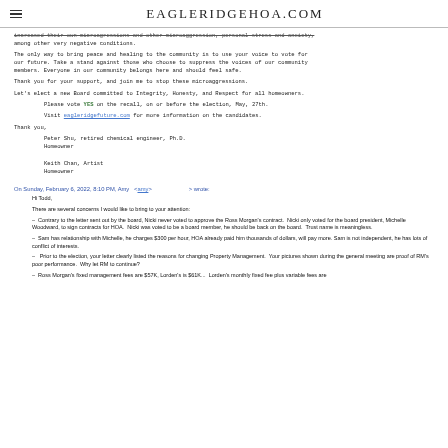EAGLERIDGEHOA.COM
among other very negative conditions.
The only way to bring peace and healing to the community is to use your voice to vote for our future. Take a stand against those who choose to suppress the voices of our community members. Everyone in our community belongs here and should feel safe.

Thank you for your support, and join me to stop these microaggressions.

Let's elect a new Board committed to Integrity, Honesty, and Respect for all homeowners.
Please vote YES on the recall, on or before the election, May, 27th.

Visit eagleridgefuture.com for more information on the candidates.
Thank you,
Peter Shu, retired chemical engineer, Ph.D.
Homeowner

Keith Chan, Artist
Homeowner
On Sunday, February 6, 2022, 8:10 PM, Amy <amy> wrote:
Hi Todd,
There are several concerns I would like to bring to your attention:
- Contrary to the letter sent out by the board, Nicki never voted to approve the Ross Morgan's contract. Nicki only voted for the board president, Michelle Woodward, to sign contracts for HOA. Nicki was voted to be a board member, he should be back on the board. Trust name is meaningless.
- Sam has relationship with Michelle, he charges $300 per hour, HOA already paid him thousands of dollars, will pay more. Sam is not independent, he has lots of conflict of interests.
- Prior to the election, your letter clearly listed the reasons for changing Property Management. Your pictures shown during the general meeting are proof of RM's poor performance. Why let RM to continue?
- Ross Morgan's fixed management fees are $57K, Lorden's is $61K... Lorden's monthly fixed fee plus variable fees are